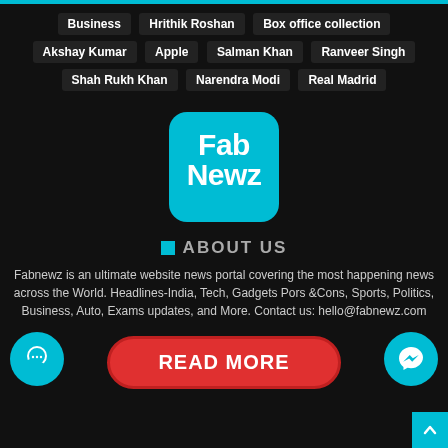Business
Hrithik Roshan
Box office collection
Akshay Kumar
Apple
Salman Khan
Ranveer Singh
Shah Rukh Khan
Narendra Modi
Real Madrid
[Figure (logo): Fab Newz logo: cyan rounded square with white bold text 'Fab Newz']
ABOUT US
Fabnewz is an ultimate website news portal covering the most happening news across the World. Headlines-India, Tech, Gadgets Pors &Cons, Sports, Politics, Business, Auto, Exams updates, and More. Contact us: hello@fabnewz.com